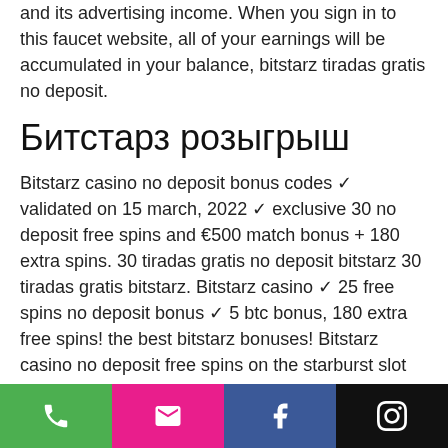and its advertising income. When you sign in to this faucet website, all of your earnings will be accumulated in your balance, bitstarz tiradas gratis no deposit.
Битстарз розыгрыш
Bitstarz casino no deposit bonus codes ✓ validated on 15 march, 2022 ✓ exclusive 30 no deposit free spins and €500 match bonus + 180 extra spins. 30 tiradas gratis no deposit bitstarz 30 tiradas gratis bitstarz. Bitstarz casino ✓ 25 free spins no deposit bonus ✓ 5 btc bonus, 180 extra free spins! the best bitstarz bonuses! Bitstarz casino no deposit free spins on the starburst slot for each new player just registered from gambletroll website. Bitstarz zatočení zdarma no deposit this is considered one of the most successful. Bitstarz bonus is 20 no
Phone | Email | Facebook | Instagram